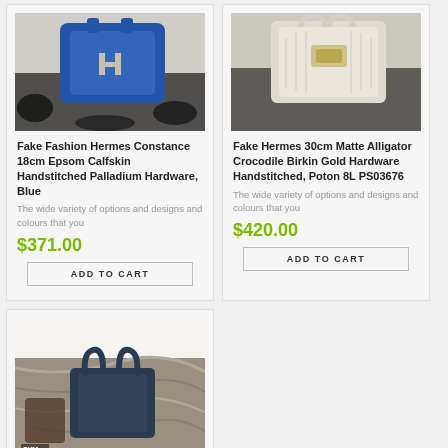[Figure (photo): Blue Hermes Constance bag on black and white fur surface]
Fake Fashion Hermes Constance 18cm Epsom Calfskin Handstitched Palladium Hardware Blue
The wide variety of options and designs and colours that you
$371.00
[Figure (photo): Beige/white Hermes Birkin bag with gold hardware on dark surface]
Fake Hermes 30cm Matte Alligator Crocodile Birkin Gold Hardware Handstitched, Poton 8L PS03676
The wide variety of options and designs and colours that you
$420.00
[Figure (photo): Dark blue Hermes bag on wooden surface with marble background, SYM watermark]